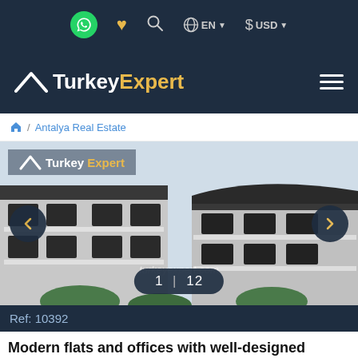WhatsApp | Favorites | Search | EN | USD
[Figure (logo): Turkey Expert logo with chevron on dark navy background, hamburger menu icon on right]
🏠 / Antalya Real Estate
[Figure (photo): Exterior photo of a modern multi-story residential building complex with dark roof and balconies, with Turkey Expert watermark logo overlay, navigation arrows and image counter 1|12]
Ref: 10392
Modern flats and offices with well-designed layouts for sale